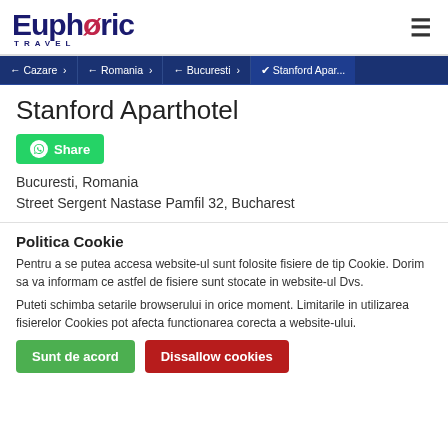[Figure (logo): Eupheric Travel logo with stylized text in dark blue and pink/red accent]
← Cazare > ← Romania > ← Bucuresti > ✔ Stanford Apar...
Stanford Aparthotel
Share (WhatsApp button)
Bucuresti, Romania
Street Sergent Nastase Pamfil 32, Bucharest
Politica Cookie
Pentru a se putea accesa website-ul sunt folosite fisiere de tip Cookie. Dorim sa va informam ce astfel de fisiere sunt stocate in website-ul Dvs.
Puteti schimba setarile browserului in orice moment. Limitarile in utilizarea fisierelor Cookies pot afecta functionarea corecta a website-ului.
Sunt de acord | Dissallow cookies